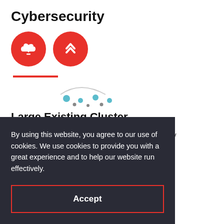Cybersecurity
[Figure (illustration): Two red circular icons: one with a cloud download/upload arrow symbol, one with double chevron up arrows. Below them is a partial network cluster diagram with a red horizontal line and teal/grey dots.]
Large Existing Cluster
Recently ranked in the top 20 for tech talent by [partially obscured] he best cities in [partially obscured] ybersecurity
By using this website, you agree to our use of cookies. We use cookies to provide you with a great experience and to help our website run effectively.
Accept